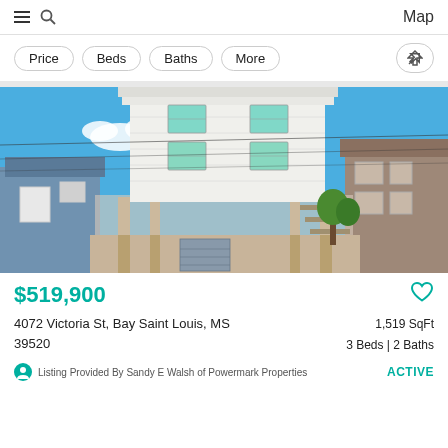Map
Price
Beds
Baths
More
[Figure (photo): Two-story white elevated beach house with teal/green windows on stilts, flanked by neighboring houses, blue sky background]
$519,900
4072 Victoria St, Bay Saint Louis, MS 39520
1,519 SqFt
3 Beds | 2 Baths
Listing Provided By Sandy E Walsh of Powermark Properties
ACTIVE